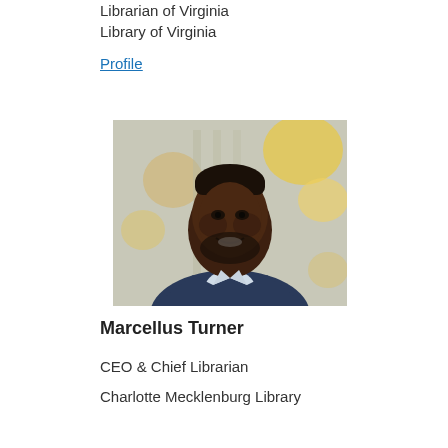Librarian of Virginia
Library of Virginia
Profile
[Figure (photo): Professional headshot of Marcellus Turner, a smiling man in a dark navy blazer with a light striped shirt, photographed against a blurred background with warm bokeh lights]
Marcellus Turner
CEO & Chief Librarian
Charlotte Mecklenburg Library